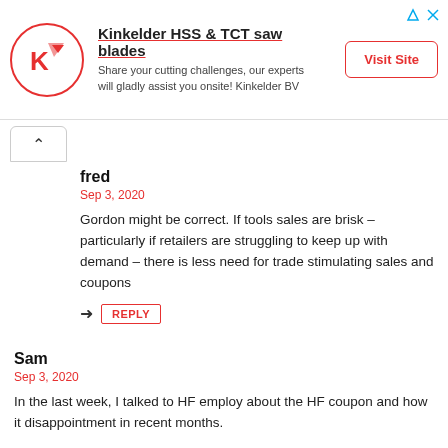[Figure (infographic): Advertisement banner for Kinkelder HSS & TCT saw blades with company logo (red circle with K and arrow icon), headline text, subtext, and Visit Site button]
fred
Sep 3, 2020
Gordon might be correct. If tools sales are brisk – particularly if retailers are struggling to keep up with demand – there is less need for trade stimulating sales and coupons
REPLY
Sam
Sep 3, 2020
In the last week, I talked to HF employ about the HF coupon and how it disappointment in recent months.